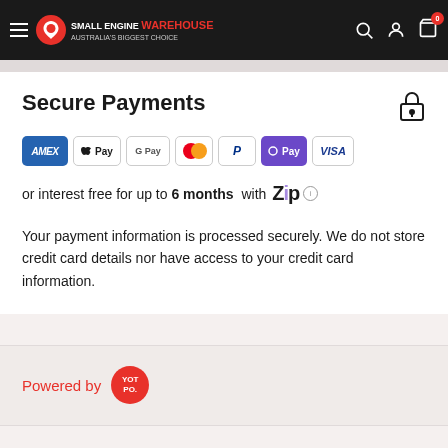Small Engine Warehouse — Australia's Biggest Choice
Secure Payments
[Figure (other): Payment method logos: AMEX, Apple Pay, Google Pay, Mastercard, PayPal, OPay, VISA]
or interest free for up to 6 months with Zip
Your payment information is processed securely. We do not store credit card details nor have access to your credit card information.
Powered by YOTPO